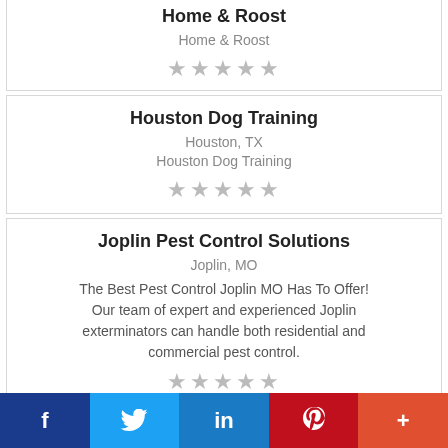Home & Roost
Home & Roost
[Figure (other): 5 grey stars rating]
Houston Dog Training
Houston, TX
Houston Dog Training
[Figure (other): 5 grey stars rating]
Joplin Pest Control Solutions
Joplin, MO
The Best Pest Control Joplin MO Has To Offer! Our team of expert and experienced Joplin exterminators can handle both residential and commercial pest control.
[Figure (other): 5 grey stars rating]
f  Twitter  in  Pinterest  +